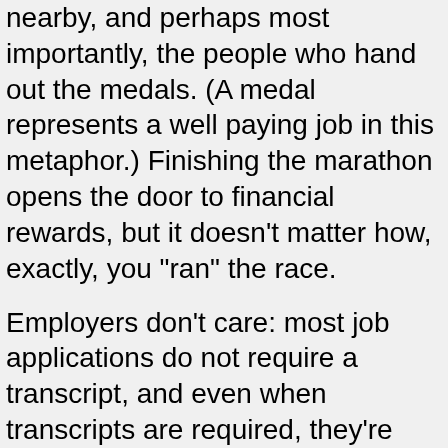nearby, and perhaps most importantly, the people who hand out the medals. (A medal represents a well paying job in this metaphor.) Finishing the marathon opens the door to financial rewards, but it doesn't matter how, exactly, you "ran" the race.
Employers don't care: most job applications do not require a transcript, and even when transcripts are required, they're rarely scrutinized. Parents, who are often the ones paying, don't know what classes their children take. College administrators only get involved when a student is on the verge of dropping out. And why would professors care? They're not cops trying to meet some quota. In fact, failing a student can be a big hassle, so if a failing student figures out a way to boost their grade, the professor might turn a blind eye.
In short, nobody cares about which courses you took, or how well you did in those courses. It doesn't matter if you cut through a back alley, rode your bike, or even called a taxi with your friends. All that matters is that you cross the finish line.